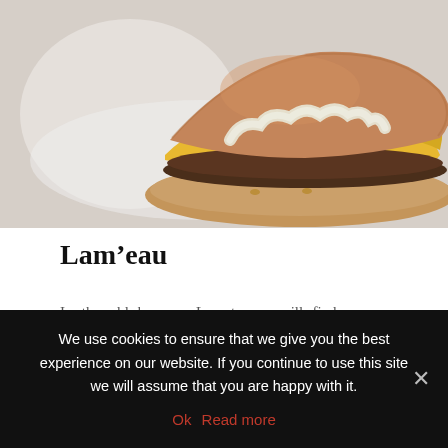[Figure (photo): Close-up photo of a burger with melted cheese on a sesame bun, placed on a white plate]
Lam'eau
In the old brewery Lamot, you will find a cozy restaurant with the appropriate name Lam'eau. The menu consists of seasonal dishes but also classic Belgian dishes. The portions are more than enough
We use cookies to ensure that we give you the best experience on our website. If you continue to use this site we will assume that you are happy with it.
Ok  Read more